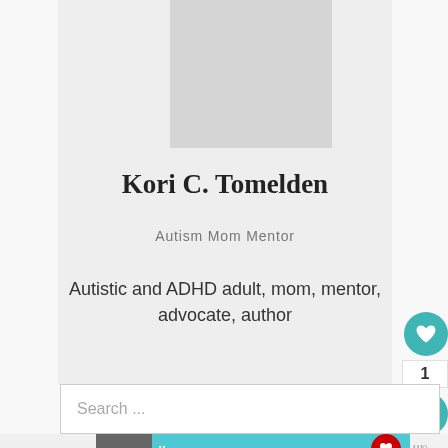[Figure (photo): Grey placeholder photo box at top of profile card]
Kori C. Tomelden
Autism Mom Mentor
Autistic and ADHD adult, mom, mentor, advocate, author
Search ...
[Figure (photo): Advertisement banner: My biggest fear was that I was going to age out and — Dave Thomas Foundation for Adoption]